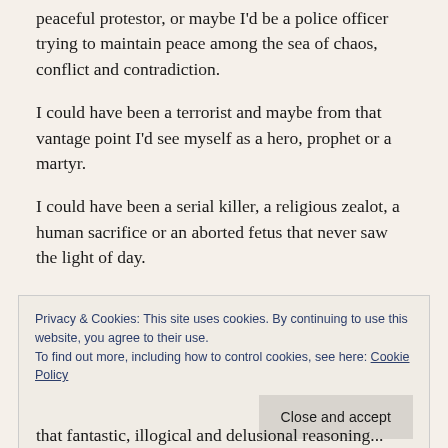peaceful protestor, or maybe I'd be a police officer trying to maintain peace among the sea of chaos, conflict and contradiction.
I could have been a terrorist and maybe from that vantage point I'd see myself as a hero, prophet or a martyr.
I could have been a serial killer, a religious zealot, a human sacrifice or an aborted fetus that never saw the light of day.
Privacy & Cookies: This site uses cookies. By continuing to use this website, you agree to their use.
To find out more, including how to control cookies, see here: Cookie Policy
Close and accept
that fantastic, illogical and delusional reasoning...